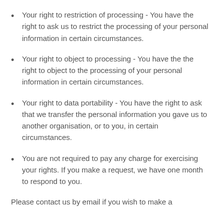Your right to restriction of processing - You have the right to ask us to restrict the processing of your personal information in certain circumstances.
Your right to object to processing - You have the the right to object to the processing of your personal information in certain circumstances.
Your right to data portability - You have the right to ask that we transfer the personal information you gave us to another organisation, or to you, in certain circumstances.
You are not required to pay any charge for exercising your rights. If you make a request, we have one month to respond to you.
Please contact us by email if you wish to make a